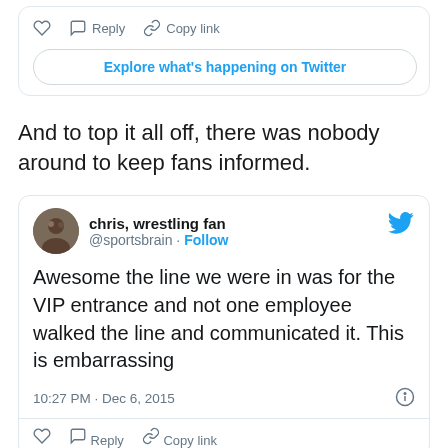[Figure (screenshot): Top portion of a Twitter tweet card showing action buttons (like, reply, copy link) and an 'Explore what's happening on Twitter' button]
And to top it all off, there was nobody around to keep fans informed.
[Figure (screenshot): Twitter tweet card from @sportsbrain (chris, wrestling fan) dated 10:27 PM · Dec 6, 2015: 'Awesome the line we were in was for the VIP entrance and not one employee walked the line and communicated it. This is embarrassing']